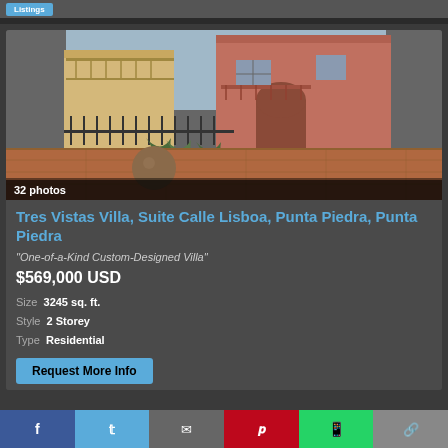[Figure (photo): Exterior courtyard of Tres Vistas Villa with terracotta paving, large sphere sculpture, agave plants, pink stucco building with arched entrance and balcony]
32 photos
Tres Vistas Villa, Suite Calle Lisboa, Punta Piedra, Punta Piedra
"One-of-a-Kind Custom-Designed Villa"
$569,000 USD
Size  3245 sq. ft.
Style  2 Storey
Type  Residential
Request More Info